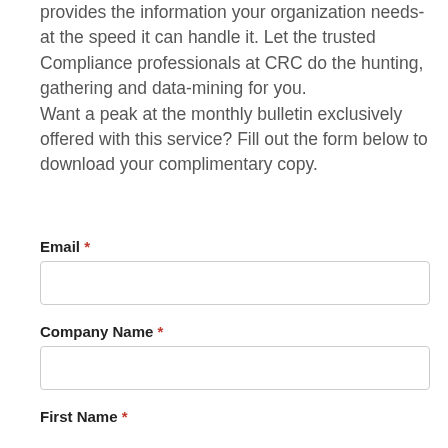provides the information your organization needs- at the speed it can handle it. Let the trusted Compliance professionals at CRC do the hunting, gathering and data-mining for you.
Want a peak at the monthly bulletin exclusively offered with this service? Fill out the form below to download your complimentary copy.
Email *
Company Name *
First Name *